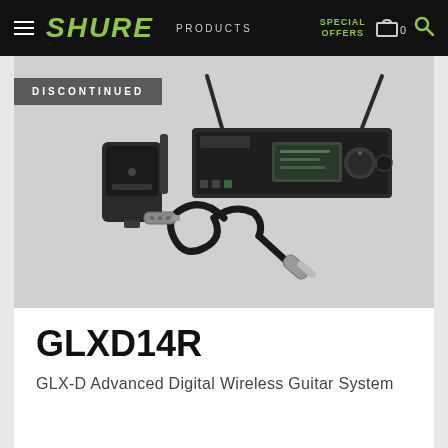SHURE | PRODUCTS | SPECIAL OFFERS | Cart 0 | Search
[Figure (photo): Shure GLXD14R wireless guitar system product photo showing a bodypack transmitter, rack-mount receiver with two antennas, and a guitar cable with plug. A 'DISCONTINUED' badge appears in the top-left of the image area.]
GLXD14R
GLX-D Advanced Digital Wireless Guitar System